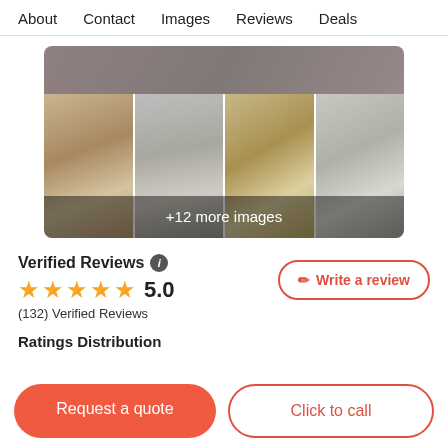About   Contact   Images   Reviews   Deals
[Figure (photo): Gallery of interior home photos showing hallway, staircase, bathroom with wood cabinets, and bathroom with white cabinets. Overlay text reads '+12 more images'.]
Verified Reviews
5.0
(132) Verified Reviews
Write a review
Ratings Distribution
Request a quote
Click to call